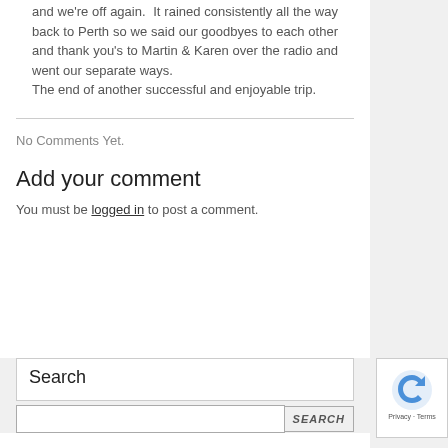and we're off again.  It rained consistently all the way back to Perth so we said our goodbyes to each other and thank you's to Martin & Karen over the radio and went our separate ways.
The end of another successful and enjoyable trip.
No Comments Yet.
Add your comment
You must be logged in to post a comment.
Search
SEARCH